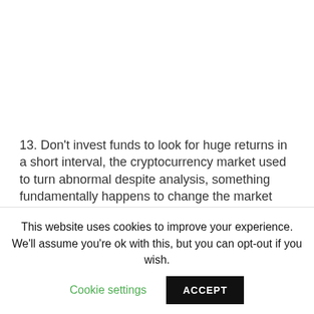13. Don't invest funds to look for huge returns in a short interval, the cryptocurrency market used to turn abnormal despite analysis, something fundamentally happens to change the market actions
[Figure (other): Social share bar with Facebook, Twitter, Email, WhatsApp, SMS, Tweet, and More (+) buttons]
This website uses cookies to improve your experience. We'll assume you're ok with this, but you can opt-out if you wish. Cookie settings ACCEPT